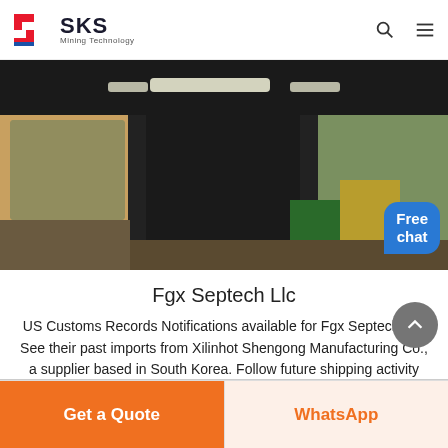SKS Mining Technology
[Figure (photo): Interior cab view of a large mining/construction machine, showing dashboard, mirrors, overhead lighting strips, with outdoor industrial yard visible through the windows.]
Fgx Septech Llc
US Customs Records Notifications available for Fgx Septech Llc. See their past imports from Xilinhot Shengong Manufacturing Co., a supplier based in South Korea. Follow future shipping activity from Fgx ....